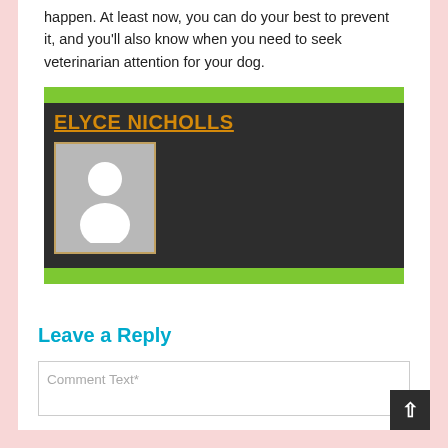happen. At least now, you can do your best to prevent it, and you'll also know when you need to seek veterinarian attention for your dog.
[Figure (illustration): Author bio box with dark background and green top/bottom bars. Shows name 'ELYCE NICHOLLS' in orange underlined text and a gray avatar placeholder image.]
Leave a Reply
Comment Text*